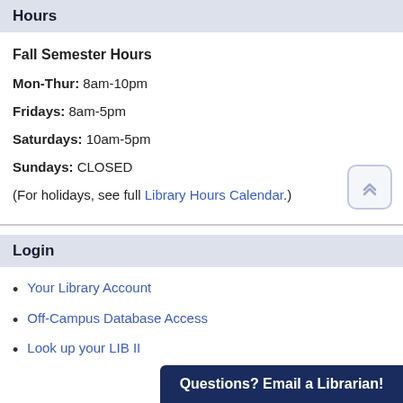Hours
Fall Semester Hours
Mon-Thur: 8am-10pm
Fridays: 8am-5pm
Saturdays: 10am-5pm
Sundays: CLOSED
(For holidays, see full Library Hours Calendar.)
Login
Your Library Account
Off-Campus Database Access
Look up your LIB II...
Questions? Email a Librarian!